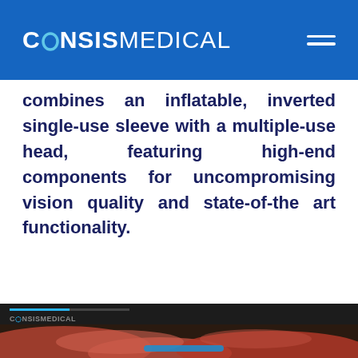CONSISMEDICAL
combines an inflatable, inverted single-use sleeve with a multiple-use head, featuring high-end components for uncompromising vision quality and state-of-the art functionality.
[Figure (screenshot): Dark video player section showing a blue progress bar, CONSISMEDICAL watermark logo, and a partially visible anatomical/medical image of tissue at the bottom of the page.]